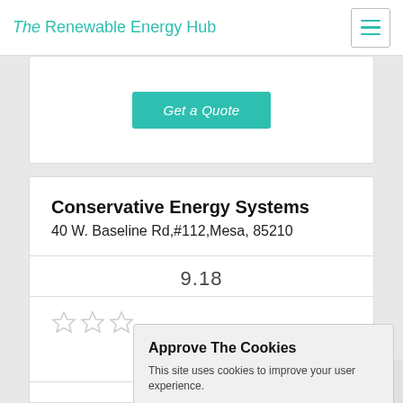The Renewable Energy Hub
Get a Quote
Conservative Energy Systems
40 W. Baseline Rd,#112,Mesa, 85210
9.18
Approve The Cookies
This site uses cookies to improve your user experience.
Accept
Decline
Cookie policy